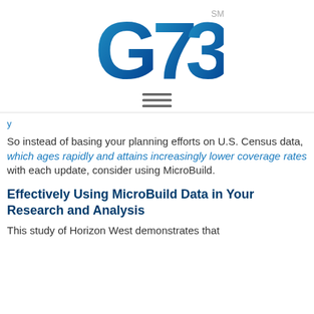[Figure (logo): G73 logo in blue gradient with SM superscript trademark]
[Figure (other): Hamburger menu icon (three horizontal lines)]
So instead of basing your planning efforts on U.S. Census data, which ages rapidly and attains increasingly lower coverage rates with each update, consider using MicroBuild.
Effectively Using MicroBuild Data in Your Research and Analysis
This study of Horizon West demonstrates that